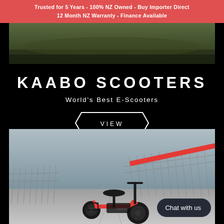Trusted for 5 Years - 100% NZ Owned - Buy Importer Direct
12 Month NZ Warranty - Finance Available
[Figure (photo): Outdoor landscape photo, dark natural tones, partially visible at top]
KAABO SCOOTERS
World's Best E-Scooters
VIEW
[Figure (photo): Red Kaabo electric scooter parked on a pathway next to a metal fence with a red railing, urban outdoor setting]
Chat with us